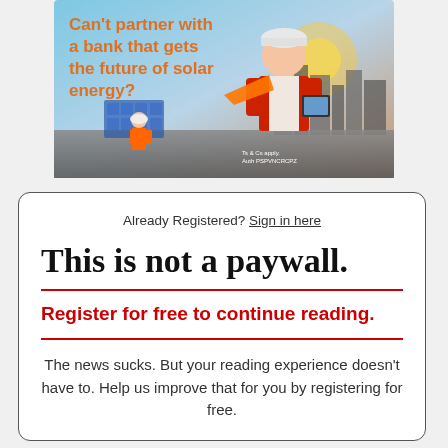[Figure (illustration): Advertisement banner showing a construction worker in a red vest and hard hat holding a tablet, with solar panels and a city skyline in the background. Orange text reads 'Can't partner with a bank that gets the future of solar energy?' Small disclaimer text at bottom right reads 'Ts & Cs apply. Auth PSPVNCRCPZ']
Already Registered? Sign in here
This is not a paywall.
Register for free to continue reading.
The news sucks. But your reading experience doesn't have to. Help us improve that for you by registering for free.